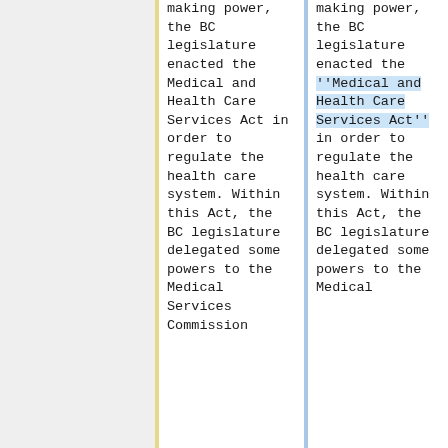making power, the BC legislature enacted the Medical and Health Care Services Act in order to regulate the health care system. Within this Act, the BC legislature delegated some powers to the Medical Services Commission
making power, the BC legislature enacted the ''Medical and Health Care Services Act'' in order to regulate the health care system. Within this Act, the BC legislature delegated some powers to the Medical